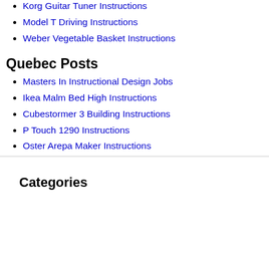Korg Guitar Tuner Instructions
Model T Driving Instructions
Weber Vegetable Basket Instructions
Quebec Posts
Masters In Instructional Design Jobs
Ikea Malm Bed High Instructions
Cubestormer 3 Building Instructions
P Touch 1290 Instructions
Oster Arepa Maker Instructions
Categories